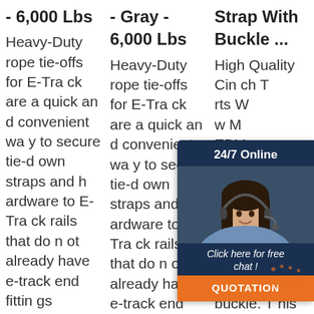- 6,000 Lbs Heavy-Duty rope tie-offs for E-Track are a quick and convenient way to secure tie-down straps and hardware to E-Track rails that do not already have e-track end fittings attached. This 6' heavy-duty E-Track Rope Tie-Off features a D-ring end so it's e
- Gray - 6,000 Lbs Heavy-Duty rope tie-offs for E-Track are a quick and convenient way to secure tie-down straps and hardware to E-Track rails that do not already have e-track end fittings attached. This 6' heavy-duty E-Track Rope Tie-Off features a D-
Strap With Buckle ... High Quality Cinch Strap rts With New MEDIUM HEAVY VY Strap from l-grade loop material and feature a sturdy metal buckle. This heavy duty cinch strap buckle
[Figure (infographic): Chat widget overlay with dark blue background, showing '24/7 Online' header text, an image of a smiling female customer service agent wearing a headset, 'Click here for free chat!' text, and an orange 'QUOTATION' button.]
[Figure (logo): Orange 'TOP' badge with dots, positioned at bottom right.]